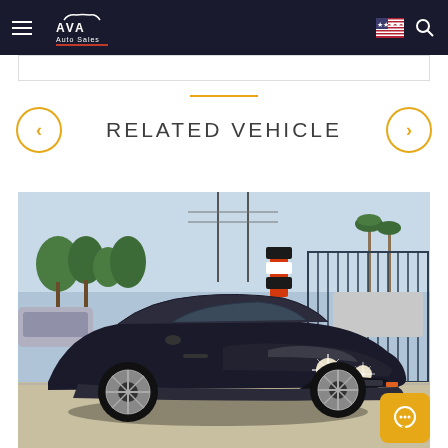AVA Auto Sales navigation header with hamburger menu, logo, US flag, and search icon
RELATED VEHICLE
[Figure (photo): Black Jaguar XK convertible sports car at auto dealership lot, front 3/4 view, palm trees and metal fence gate visible in background]